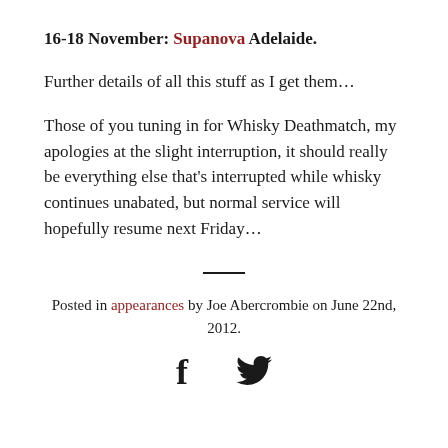16-18 November: Supanova Adelaide.
Further details of all this stuff as I get them…
Those of you tuning in for Whisky Deathmatch, my apologies at the slight interruption, it should really be everything else that's interrupted while whisky continues unabated, but normal service will hopefully resume next Friday…
Posted in appearances by Joe Abercrombie on June 22nd, 2012.